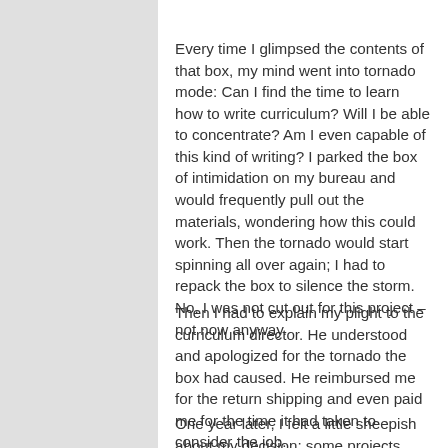Every time I glimpsed the contents of that box, my mind went into tornado mode: Can I find the time to learn how to write curriculum? Will I be able to concentrate? Am I even capable of this kind of writing? I parked the box of intimidation on my bureau and would frequently pull out the materials, wondering how this could work. Then the tornado would start spinning all over again; I had to repack the box to silence the storm. No. I was not cut out for this project – not now anyway.
Then I had to explain my plight to the curriculum director. He understood and apologized for the tornado the box had caused. He reimbursed me for the return shipping and even paid me for the time it had taken to consider the job.
One year later, I felt a little sheepish about my decision; some projects seem so doable in hindsight. But then again, my